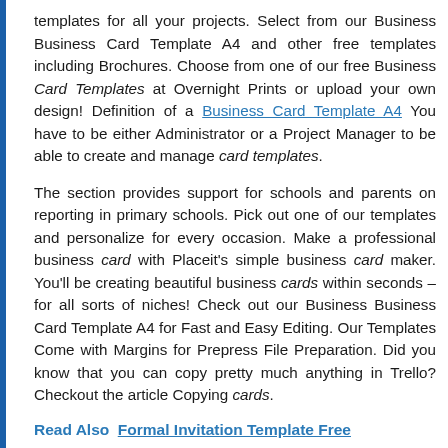templates for all your projects. Select from our Business Business Card Template A4 and other free templates including Brochures. Choose from one of our free Business Card Templates at Overnight Prints or upload your own design! Definition of a Business Card Template A4 You have to be either Administrator or a Project Manager to be able to create and manage card templates.
The section provides support for schools and parents on reporting in primary schools. Pick out one of our templates and personalize for every occasion. Make a professional business card with Placeit's simple business card maker. You'll be creating beautiful business cards within seconds – for all sorts of niches! Check out our Business Business Card Template A4 for Fast and Easy Editing. Our Templates Come with Margins for Prepress File Preparation. Did you know that you can copy pretty much anything in Trello? Checkout the article Copying cards.
Read Also  Formal Invitation Template Free